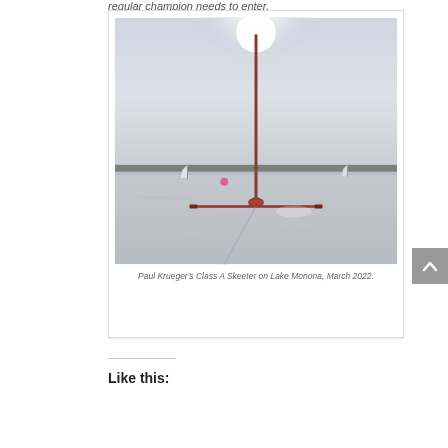regular champion needs to enter.
[Figure (photo): Paul Krueger's Class A Skeeter ice boat on Lake Monona, March 2022. The boat has a tall red mast and cross-shaped frame resting on the frozen lake surface. In the background are small sailboats and a treeline under an overcast sky.]
Paul Krueger's Class A Skeeter on Lake Monona, March 2022.
Like this: